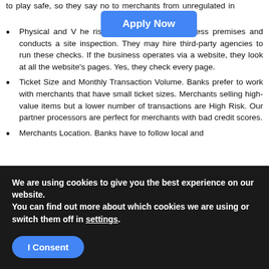to play safe, so they say no to merchants from unregulated in...
[Figure (other): Blue 'Apply Now' button overlay]
Physical and V... the risk team checks the business premises and conducts a site inspection. They may hire third-party agencies to run these checks. If the business operates via a website, they look at all the website's pages. Yes, they check every page.
Ticket Size and Monthly Transaction Volume. Banks prefer to work with merchants that have small ticket sizes. Merchants selling high-value items but a lower number of transactions are High Risk. Our partner processors are perfect for merchants with bad credit scores.
Merchants Location. Banks have to follow local and...
We are using cookies to give you the best experience on our website.
You can find out more about which cookies we are using or switch them off in settings.
I Consent